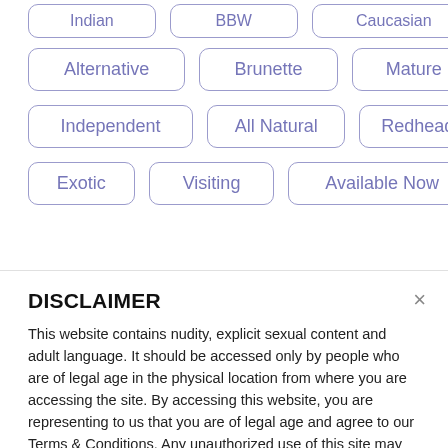Indian | BBW | Caucasian (partial, top row cut off)
Alternative | Brunette | Mature
Independent | All Natural | Redhead
Exotic | Visiting | Available Now
DISCLAIMER
This website contains nudity, explicit sexual content and adult language. It should be accessed only by people who are of legal age in the physical location from where you are accessing the site. By accessing this website, you are representing to us that you are of legal age and agree to our Terms & Conditions. Any unauthorized use of this site may violate state, federal and/or foreign law.
While besthookupwebsites.org does not create, produce or